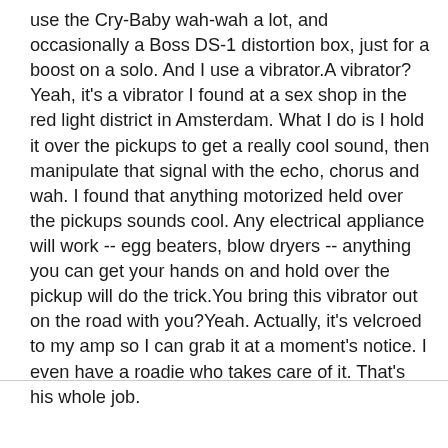use the Cry-Baby wah-wah a lot, and occasionally a Boss DS-1 distortion box, just for a boost on a solo. And I use a vibrator.A vibrator?Yeah, it's a vibrator I found at a sex shop in the red light district in Amsterdam. What I do is I hold it over the pickups to get a really cool sound, then manipulate that signal with the echo, chorus and wah. I found that anything motorized held over the pickups sounds cool. Any electrical appliance will work -- egg beaters, blow dryers -- anything you can get your hands on and hold over the pickup will do the trick.You bring this vibrator out on the road with you?Yeah. Actually, it's velcroed to my amp so I can grab it at a moment's notice. I even have a roadie who takes care of it. That's his whole job.